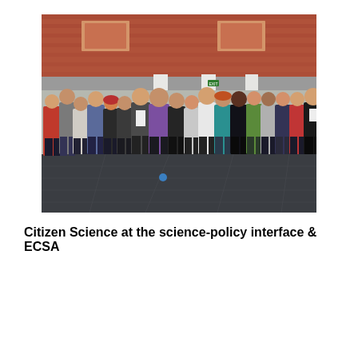[Figure (photo): Group photo of approximately 25 people standing in a row inside a modern building with brick walls, white columns, and a reflective dark floor. People are dressed in varied casual and smart-casual attire in colors including red, gray, purple, teal, green, and black.]
Citizen Science at the science-policy interface & ECSA